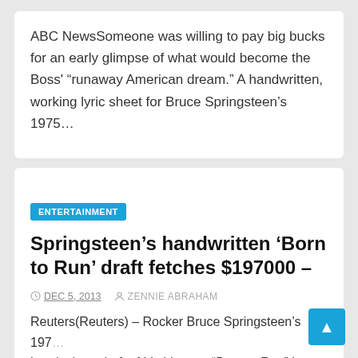ABC NewsSomeone was willing to pay big bucks for an early glimpse of what would become the Boss' “runaway American dream.” A handwritten, working lyric sheet for Bruce Springsteen’s 1975…
ENTERTAINMENT
Springsteen’s handwritten ‘Born to Run’ draft fetches $197000 –
DEC 5, 2013   ZENNIE ABRAHAM
Reuters(Reuters) – Rocker Bruce Springsteen’s 197… handwritten draft of his hit song “Born to Run” has